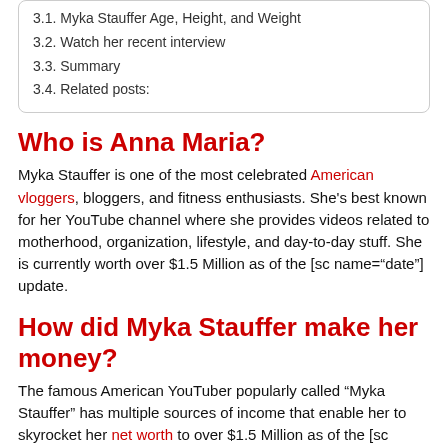3.1. Myka Stauffer Age, Height, and Weight
3.2. Watch her recent interview
3.3. Summary
3.4. Related posts:
Who is Anna Maria?
Myka Stauffer is one of the most celebrated American vloggers, bloggers, and fitness enthusiasts. She’s best known for her YouTube channel where she provides videos related to motherhood, organization, lifestyle, and day-to-day stuff. She is currently worth over $1.5 Million as of the [sc name=“date”] update.
How did Myka Stauffer make her money?
The famous American YouTuber popularly called “Myka Stauffer” has multiple sources of income that enable her to skyrocket her net worth to over $1.5 Million as of the [sc